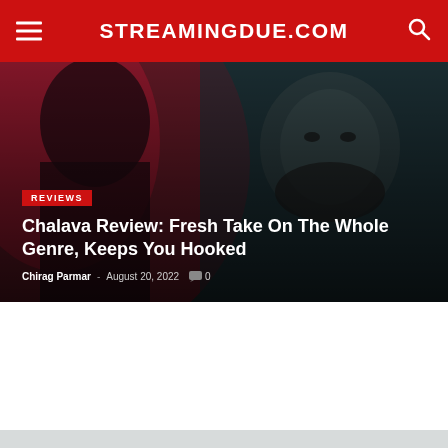STREAMINGDUE.COM
[Figure (photo): Dark cinematic hero image showing a bearded man's face with red and teal lighting]
REVIEWS
Chalava Review: Fresh Take On The Whole Genre, Keeps You Hooked
Chirag Parmar - August 20, 2022  0